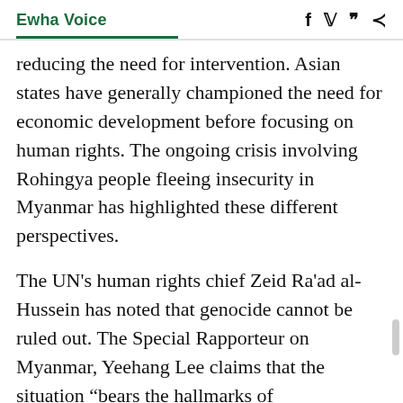Ewha Voice
reducing the need for intervention. Asian states have generally championed the need for economic development before focusing on human rights. The ongoing crisis involving Rohingya people fleeing insecurity in Myanmar has highlighted these different perspectives.
The UN's human rights chief Zeid Ra'ad al-Hussein has noted that genocide cannot be ruled out. The Special Rapporteur on Myanmar, Yeehang Lee claims that the situation “bears the hallmarks of